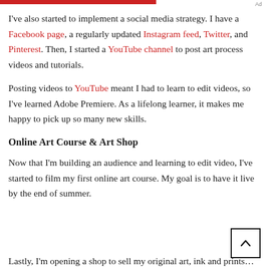I've also started to implement a social media strategy. I have a Facebook page, a regularly updated Instagram feed, Twitter, and Pinterest. Then, I started a YouTube channel to post art process videos and tutorials.
Posting videos to YouTube meant I had to learn to edit videos, so I've learned Adobe Premiere. As a lifelong learner, it makes me happy to pick up so many new skills.
Online Art Course & Art Shop
Now that I'm building an audience and learning to edit video, I've started to film my first online art course. My goal is to have it live by the end of summer.
Lastly, I'm opening a shop to sell my original art, ink and prints…